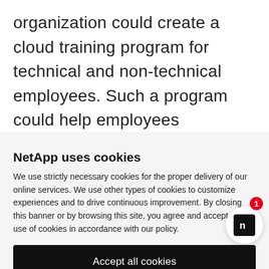organization could create a cloud training program for technical and non-technical employees. Such a program could help employees understand how the technology works and the impact that it will have on their jobs.
NetApp uses cookies
We use strictly necessary cookies for the proper delivery of our online services. We use other types of cookies to customize experiences and to drive continuous improvement. By closing this banner or by browsing this site, you agree and accept the use of cookies in accordance with our policy.
Accept all cookies
Cookie settings